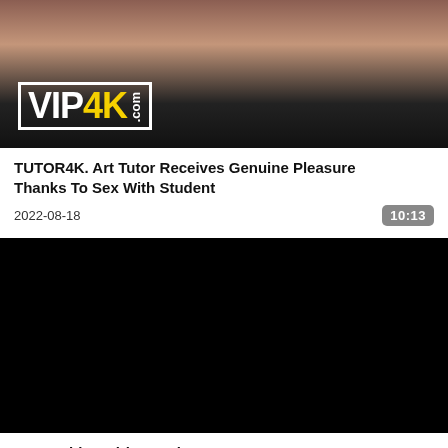[Figure (photo): Thumbnail image with VIP4K.com logo overlay, showing partial view of people, brownish/skin tones at top fading to dark]
TUTOR4K. Art Tutor Receives Genuine Pleasure Thanks To Sex With Student
2022-08-18
10:13
[Figure (photo): Black video player / thumbnail]
Hot Lesbian Girl Artemia Gets Some Lessons In Pussy Licking &